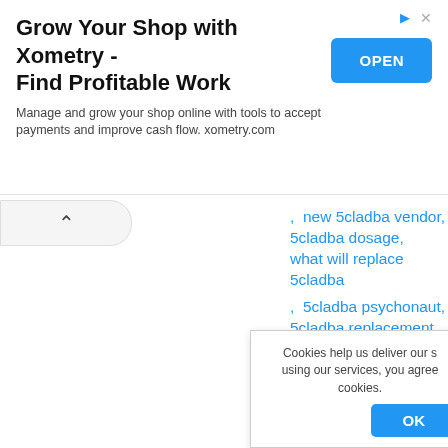[Figure (screenshot): Advertisement banner for Xometry with OPEN button]
Grow Your Shop with Xometry - Find Profitable Work
Manage and grow your shop online with tools to accept payments and improve cash flow. xometry.com
, new 5cladba vendor, 5cladba dosage, what will replace 5cladba
, 5cladba psychonaut, 5cladba replacement price
, 4-fluoroisobutyrfentanyl 4-fluoroisobutyrfentanyl
, 5 fluoro npb 22, ab-pinaca, bb-22 powderfor sale,
Cookies help us deliver our s using our services, you agree cookies.